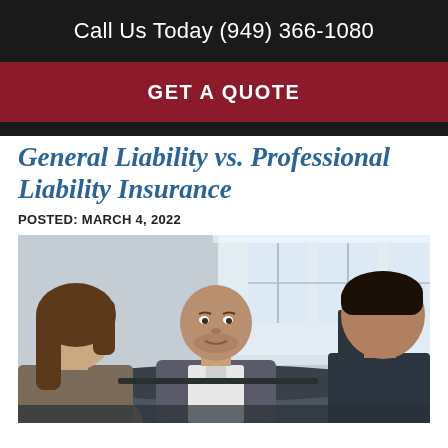Call Us Today (949) 366-1080
GET A QUOTE
General Liability vs. Professional Liability Insurance
POSTED: MARCH 4, 2022
[Figure (photo): Three business professionals in a meeting. A man in a grey blazer sits across from a woman with brown hair and another person, in an office setting with large windows.]